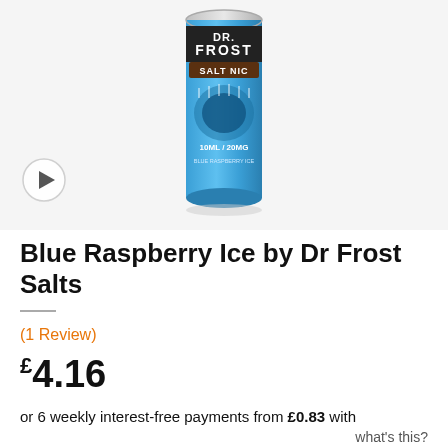[Figure (photo): Dr Frost Salt Nic Blue Raspberry Ice 10ml/20mg e-liquid bottle can on white/light grey background with a circular play button in the bottom left corner]
Blue Raspberry Ice by Dr Frost Salts
(1 Review)
£4.16
or 6 weekly interest-free payments from £0.83 with what's this?